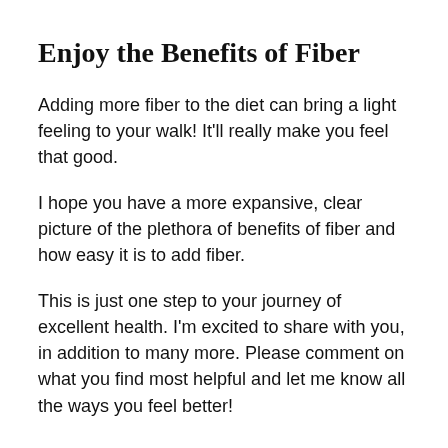Enjoy the Benefits of Fiber
Adding more fiber to the diet can bring a light feeling to your walk! It'll really make you feel that good.
I hope you have a more expansive, clear picture of the plethora of benefits of fiber and how easy it is to add fiber.
This is just one step to your journey of excellent health. I'm excited to share with you, in addition to many more. Please comment on what you find most helpful and let me know all the ways you feel better!